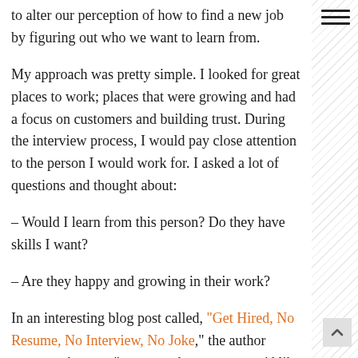to alter our perception of how to find a new job by figuring out who we want to learn from.
My approach was pretty simple. I looked for great places to work; places that were growing and had a focus on customers and building trust. During the interview process, I would pay close attention to the person I would work for. I asked a lot of questions and thought about:
– Would I learn from this person? Do they have skills I want?
– Are they happy and growing in their work?
In an interesting blog post called, "Get Hired, No Resume, No Interview, No Joke," the author suggests that you "go to good managers you'd like to work for." Talk to them, understand their issues and see how you might fit into their organization. I'm not suggesting that you abandon networking or applying for work. But author Corcadiles'